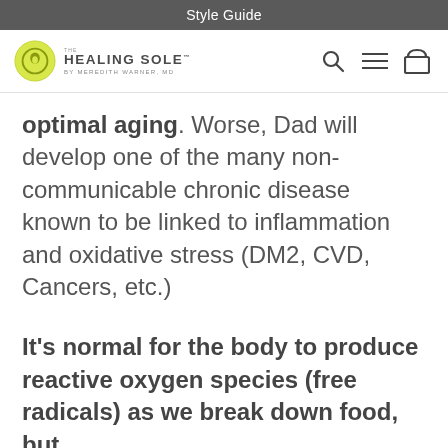Style Guide
[Figure (logo): The Healing Sole by Meredith Warner, MD logo with navigation icons (search, menu, bag)]
optimal aging. Worse, Dad will develop one of the many non-communicable chronic disease known to be linked to inflammation and oxidative stress (DM2, CVD, Cancers, etc.)
It’s normal for the body to produce reactive oxygen species (free radicals) as we break down food, but